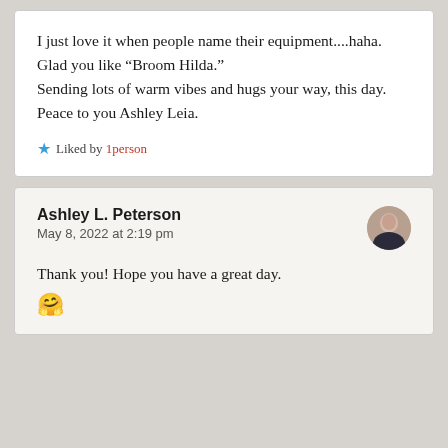I just love it when people name their equipment....haha. Glad you like “Broom Hilda.”
Sending lots of warm vibes and hugs your way, this day. Peace to you Ashley Leia.
★ Liked by 1person
Ashley L. Peterson
May 8, 2022 at 2:19 pm
Thank you! Hope you have a great day. 🤧